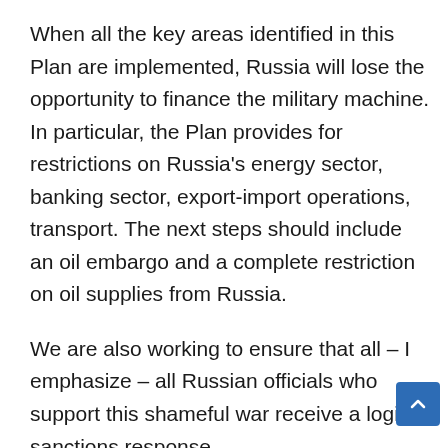When all the key areas identified in this Plan are implemented, Russia will lose the opportunity to finance the military machine. In particular, the Plan provides for restrictions on Russia's energy sector, banking sector, export-import operations, transport. The next steps should include an oil embargo and a complete restriction on oil supplies from Russia.
We are also working to ensure that all – I emphasize – all Russian officials who support this shameful war receive a logical sanctions response